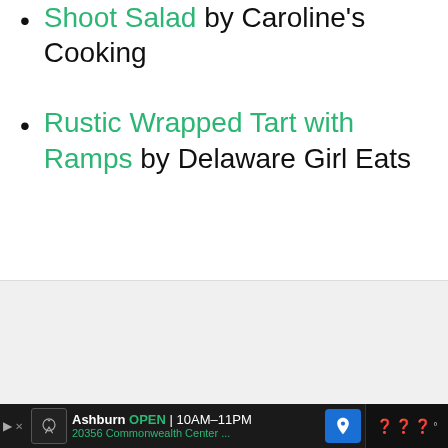Shoot Salad by Caroline's Cooking
Rustic Wrapped Tart with Ramps by Delaware Girl Eats
[Figure (other): Light gray placeholder image area for an embedded photo or content block]
Ashburn OPEN | 10AM–11PM 20356 Commonwealth Center ...